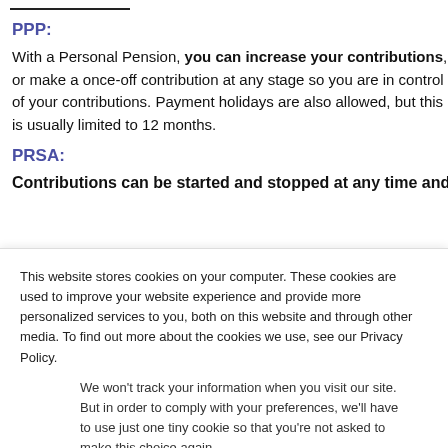PPP:
With a Personal Pension, you can increase your contributions, or make a once-off contribution at any stage so you are in control of your contributions. Payment holidays are also allowed, but this is usually limited to 12 months.
PRSA:
Contributions can be started and stopped at any time and
This website stores cookies on your computer. These cookies are used to improve your website experience and provide more personalized services to you, both on this website and through other media. To find out more about the cookies we use, see our Privacy Policy.
We won't track your information when you visit our site. But in order to comply with your preferences, we'll have to use just one tiny cookie so that you're not asked to make this choice again.
Accept
Decline